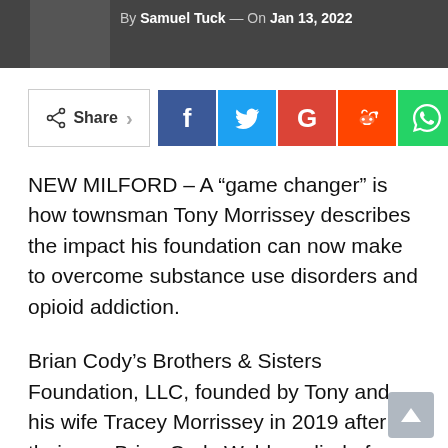[Figure (photo): Partial photo strip at top showing a person, with byline text: By Samuel Tuck — On Jan 13, 2022]
By Samuel Tuck — On Jan 13, 2022
[Figure (infographic): Social share bar with Share button and social media icons: Facebook (f), Twitter (bird), Google (G), Reddit (alien), WhatsApp (phone), plus (+)]
NEW MILFORD – A “game changer” is how townsman Tony Morrissey describes the impact his foundation can now make to overcome substance use disorders and opioid addiction.
Brian Cody’s Brothers & Sisters Foundation, LLC, founded by Tony and his wife Tracey Morrissey in 2019 after their son Brian Cody Waldron died of an overdose at the age of 20, just became an official 501(c)(3) -Non-profit